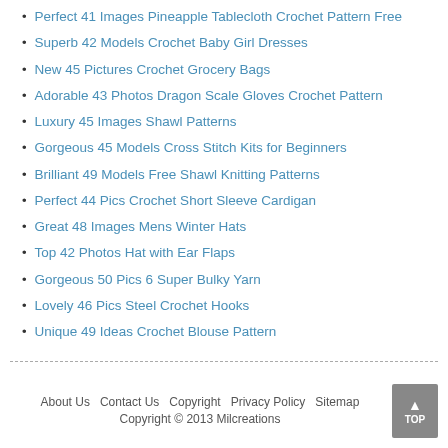Perfect 41 Images Pineapple Tablecloth Crochet Pattern Free
Superb 42 Models Crochet Baby Girl Dresses
New 45 Pictures Crochet Grocery Bags
Adorable 43 Photos Dragon Scale Gloves Crochet Pattern
Luxury 45 Images Shawl Patterns
Gorgeous 45 Models Cross Stitch Kits for Beginners
Brilliant 49 Models Free Shawl Knitting Patterns
Perfect 44 Pics Crochet Short Sleeve Cardigan
Great 48 Images Mens Winter Hats
Top 42 Photos Hat with Ear Flaps
Gorgeous 50 Pics 6 Super Bulky Yarn
Lovely 46 Pics Steel Crochet Hooks
Unique 49 Ideas Crochet Blouse Pattern
About Us   Contact Us   Copyright   Privacy Policy   Sitemap
Copyright © 2013 Milcreations